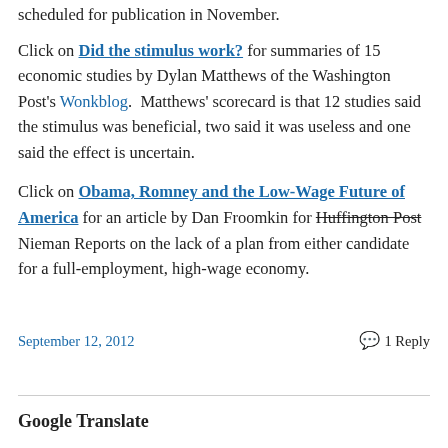scheduled for publication in November.
Click on Did the stimulus work? for summaries of 15 economic studies by Dylan Matthews of the Washington Post's Wonkblog.  Matthews' scorecard is that 12 studies said the stimulus was beneficial, two said it was useless and one said the effect is uncertain.
Click on Obama, Romney and the Low-Wage Future of America for an article by Dan Froomkin for Huffington Post Nieman Reports on the lack of a plan from either candidate for a full-employment, high-wage economy.
September 12, 2012
1 Reply
Google Translate